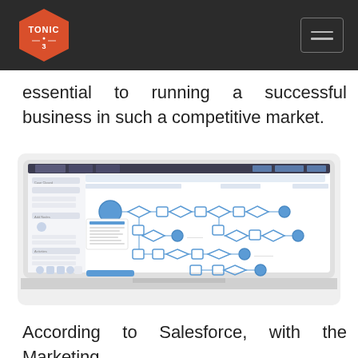TONIC 3 [logo with navigation]
essential to running a successful business in such a competitive market.
[Figure (screenshot): Laptop mockup showing a Salesforce Marketing Cloud or similar CRM workflow builder interface with a flowchart/process diagram containing blue diamond decision nodes, square task nodes, and circular start nodes connected by arrows.]
According to Salesforce, with the Marketing